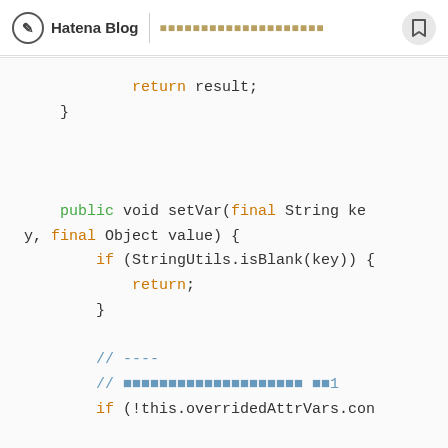Hatena Blog | [Japanese title text]
return result;
    }

    public void setVar(final String key, final Object value) {
        if (StringUtils.isBlank(key)) {
            return;
        }

        // ----
        // [Japanese comment] 1
        if (!this.overridedAttrVars.con